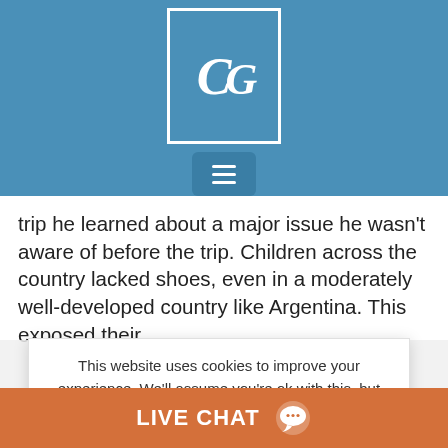[Figure (logo): Website header with blue background and CG logo letters in white serif italic font inside a white-bordered box, with a hamburger menu button below]
trip he learned about a major issue he wasn't aware of before the trip. Children across the country lacked shoes, even in a moderately well-developed country like Argentina. This exposed their
This website uses cookies to improve your experience. We'll assume you're ok with this, but you can opt-out if you wish.
Cookie settings  ACCEPT
Read our Privacy Policy
mpaign, Social Media, h Group, TOMS
LIVE CHAT